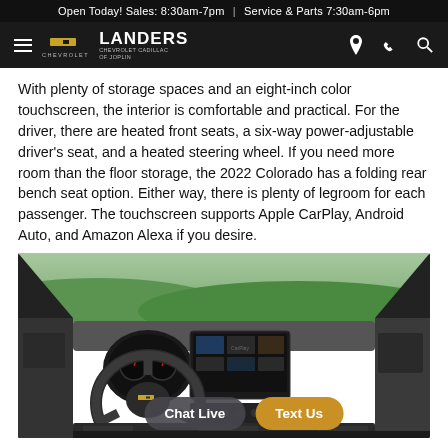Open Today! Sales: 8:30am-7pm | Service & Parts 7:30am-6pm
Landers Chevrolet Cadillac of Joplin — navigation bar
With plenty of storage spaces and an eight-inch color touchscreen, the interior is comfortable and practical. For the driver, there are heated front seats, a six-way power-adjustable driver's seat, and a heated steering wheel. If you need more room than the floor storage, the 2022 Colorado has a folding rear bench seat option. Either way, there is plenty of legroom for each passenger. The touchscreen supports Apple CarPlay, Android Auto, and Amazon Alexa if you desire.
[Figure (photo): Interior dashboard view of a Chevrolet Colorado truck showing steering wheel with Chevrolet bowtie, instrument cluster, center touchscreen infotainment display, and dashboard controls. Landscape visible through windshield.]
Standard safety features include a, wi Forward Collision Alert, Lane Departure Warning, and Rear Park Assist.